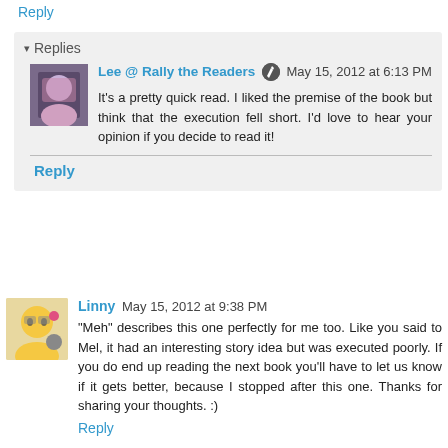Reply
▾ Replies
Lee @ Rally the Readers  May 15, 2012 at 6:13 PM
It's a pretty quick read. I liked the premise of the book but think that the execution fell short. I'd love to hear your opinion if you decide to read it!
Reply
Linny  May 15, 2012 at 9:38 PM
"Meh" describes this one perfectly for me too. Like you said to Mel, it had an interesting story idea but was executed poorly. If you do end up reading the next book you'll have to let us know if it gets better, because I stopped after this one. Thanks for sharing your thoughts. :)
Reply